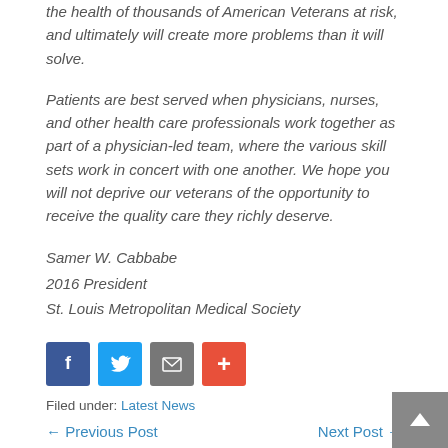the health of thousands of American Veterans at risk, and ultimately will create more problems than it will solve.
Patients are best served when physicians, nurses, and other health care professionals work together as part of a physician-led team, where the various skill sets work in concert with one another. We hope you will not deprive our veterans of the opportunity to receive the quality care they richly deserve.
Samer W. Cabbabe
2016 President
St. Louis Metropolitan Medical Society
[Figure (other): Social sharing buttons: Facebook (dark blue, f), Twitter (blue, bird icon), Email (grey, envelope icon), Share/Plus (orange-red, plus icon)]
Filed under: Latest News
← Previous Post
Next Post →